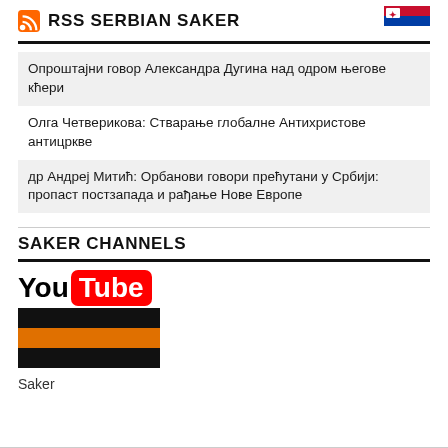RSS SERBIAN SAKER
Опроштајни говор Александра Дугина над одром његове кћери
Олга Четверикова: Стварање глобалне Антихристове антицркве
др Андреј Митић: Орбанови говори прећутани у Србији: пропаст постзапада и рађање Нове Европе
SAKER CHANNELS
[Figure (logo): YouTube logo with You in black and Tube in white on red rounded rectangle, followed by a Saker ribbon with black and orange horizontal stripes]
Saker